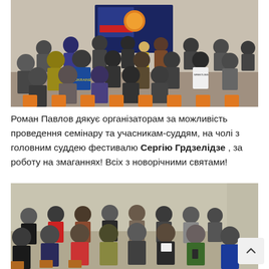[Figure (photo): Photo of a seminar/conference room with many men seated in rows of orange chairs, viewed from behind, facing a projector screen at the front where a presenter stands. A wrestling-related banner or logo is visible on the screen.]
Роман Павлов дякує організаторам за можливість проведення семінару та учасникам-суддям, на чолі з головним суддею фестивалю Сергію Грдзелідзе , за роботу на змаганнях! Всіх з новорічними святами!
[Figure (photo): Photo of a meeting room with around 20-25 men seated in chairs facing the viewer, some holding papers. The room has plain walls and fluorescent lighting. A scroll-up arrow button overlay is visible in the bottom-right corner.]